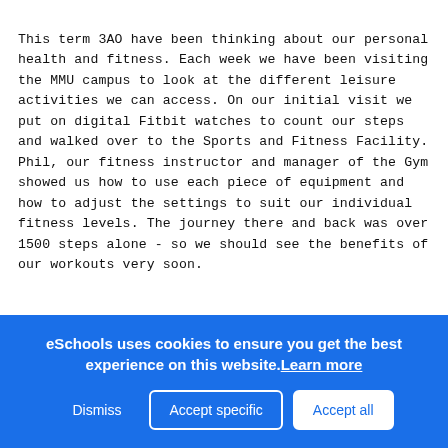This term 3AO have been thinking about our personal health and fitness. Each week we have been visiting the MMU campus to look at the different leisure activities we can access. On our initial visit we put on digital Fitbit watches to count our steps and walked over to the Sports and Fitness Facility. Phil, our fitness instructor and manager of the Gym showed us how to use each piece of equipment and how to adjust the settings to suit our individual fitness levels. The journey there and back was over 1500 steps alone - so we should see the benefits of our workouts very soon.
eSchools uses cookies to ensure you get the best experience on this website. Learn more
Dismiss  Accept specific  Accept all